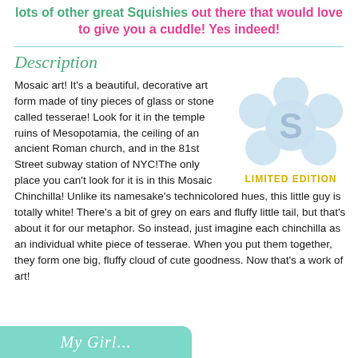lots of other great Squishies out there that would love to give you a cuddle! Yes indeed!
Description
[Figure (logo): Squishmallows flower-shaped logo with letter S inside, labeled LIMITED EDITION in gold text below]
Mosaic art! It's a beautiful, decorative art form made of tiny pieces of glass or stone called tesserae! Look for it in the temple ruins of Mesopotamia, the ceiling of an ancient Roman church, and in the 81st Street subway station of NYC!The only place you can't look for it is in this Mosaic Chinchilla! Unlike its namesake's technicolored hues, this little guy is totally white! There's a bit of grey on ears and fluffy little tail, but that's about it for our metaphor. So instead, just imagine each chinchilla as an individual white piece of tesserae. When you put them together, they form one big, fluffy cloud of cute goodness. Now that's a work of art!
My Girl...